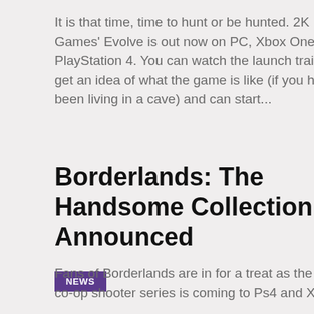It is that time, time to hunt or be hunted. 2K Games' Evolve is out now on PC, Xbox One and PlayStation 4. You can watch the launch trailer to get an idea of what the game is like (if you have been living in a cave) and can start...
Borderlands: The Handsome Collection Announced
NEWS
Fans of Borderlands are in for a treat as the crazy co-op shooter series is coming to Ps4 and Xbox...